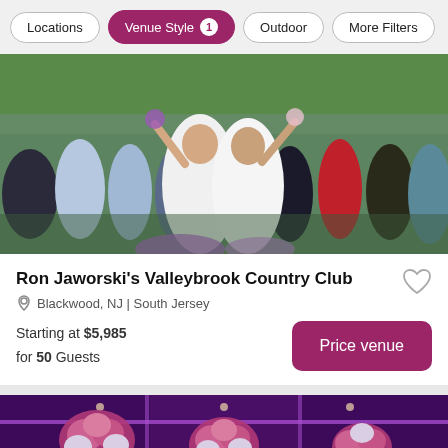Locations | Venue Style 1 | Outdoor | More Filters
[Figure (photo): Outdoor wedding ceremony photo showing two brides in white dresses celebrating with arms raised, surrounded by guests including bridesmaids in light blue dresses, with green trees in background]
Ron Jaworski's Valleybrook Country Club
Blackwood, NJ | South Jersey
Starting at $5,985 for 50 Guests
[Figure (photo): Indoor banquet hall with purple lighting, floral centerpieces with pink and white flowers on tall vases, and decorated tables]